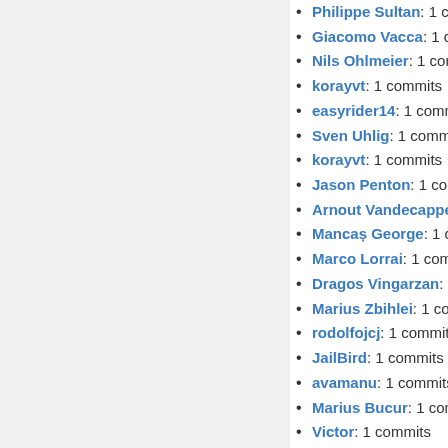Philippe Sultan: 1 commits
Giacomo Vacca: 1 commits
Nils Ohlmeier: 1 commits
korayvt: 1 commits
easyrider14: 1 commits
Sven Uhlig: 1 commits
korayvt: 1 commits
Jason Penton: 1 commits
Arnout Vandecappelle
Mancaș George: 1 commits
Marco Lorrai: 1 commits
Dragos Vingarzan: 1
Marius Zbihlei: 1 commits
rodolfojcj: 1 commits
JailBird: 1 commits
avamanu: 1 commits
Marius Bucur: 1 commits
Victor: 1 commits
unknown: 1 commits
Mojtaba Esfandiari.S
Justin-lavelle: 1 commits
Carsten Bock: 1 commits
Dmitry Wagin: 1 commits
CFrits: 1 commits
Vitalii Aleksandrov: